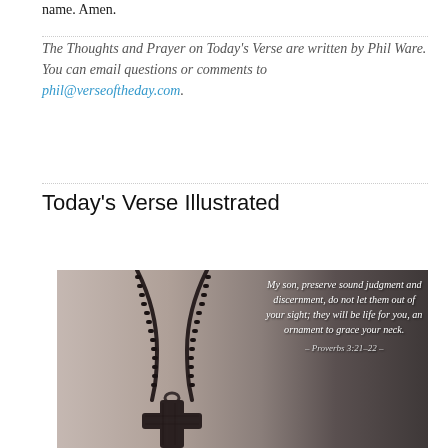name. Amen.
The Thoughts and Prayer on Today's Verse are written by Phil Ware. You can email questions or comments to phil@verseoftheday.com.
Today's Verse Illustrated
[Figure (photo): A dark wooden cross necklace on a beaded black cord, photographed in sepia/monochrome tones with a blurred background. On the right side of the image, white italic text reads: 'My son, preserve sound judgment and discernment, do not let them out of your sight; they will be life for you, an ornament to grace your neck. - Proverbs 3:21-22 -']